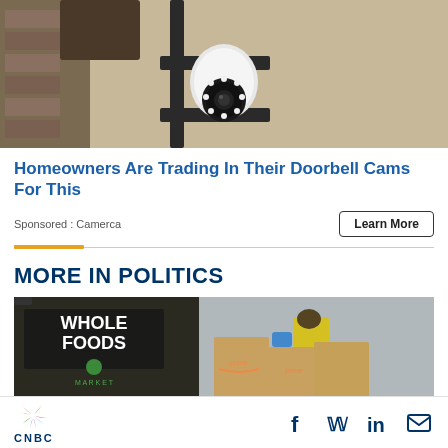[Figure (photo): Close-up photo of a security camera with circular LED lights mounted on a black metal bracket attached to a textured wall]
Homeowners Are Trading In Their Doorbell Cams For This
Sponsored : Camerca
Learn More
MORE IN POLITICS
[Figure (photo): Photo of a Whole Foods Market store exterior with a worker in yellow vest and face mask loading Amazon Prime paper bags]